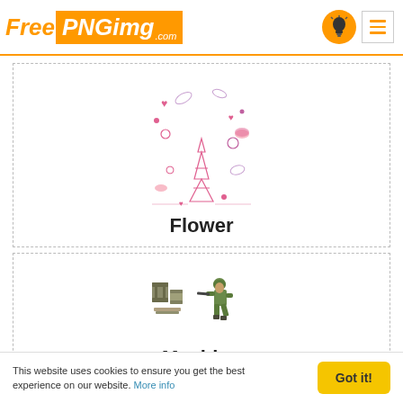FreePNGimg.com
[Figure (illustration): Pink doodle illustration with Eiffel Tower, flowers, hearts and French-themed drawings]
Flower
[Figure (illustration): Small pixel-art illustration of ammunition/weapons crates and a green toy soldier holding a gun]
Machine
This website uses cookies to ensure you get the best experience on our website. More info